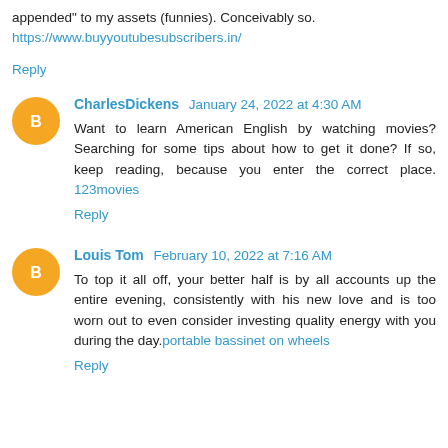appended" to my assets (funnies). Conceivably so. https://www.buyyoutubesubscribers.in/
Reply
CharlesDickens January 24, 2022 at 4:30 AM
Want to learn American English by watching movies? Searching for some tips about how to get it done? If so, keep reading, because you enter the correct place. 123movies
Reply
Louis Tom February 10, 2022 at 7:16 AM
To top it all off, your better half is by all accounts up the entire evening, consistently with his new love and is too worn out to even consider investing quality energy with you during the day. portable bassinet on wheels
Reply